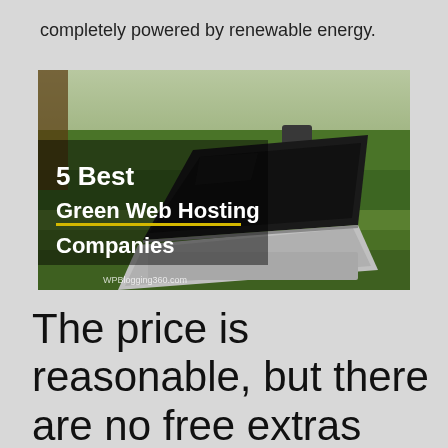completely powered by renewable energy.
[Figure (photo): Promotional image showing a laptop on grass with text overlay reading '5 Best Green Web Hosting Companies' and watermark 'WPBlogging360.com']
The price is reasonable, but there are no free extras